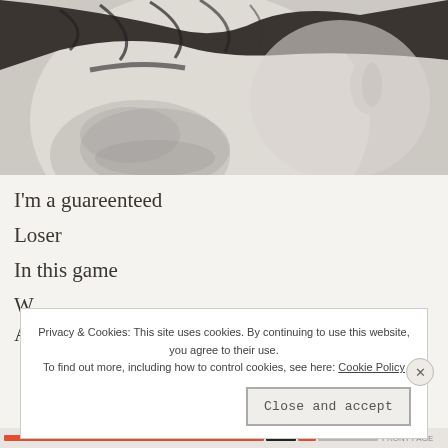[Figure (photo): Black and white close-up photograph of a man's face in profile, showing beard stubble, ear, and what appears to be glasses or dark elements near the top of the head.]
I'm a guareenteed
Loser
In this game
Privacy & Cookies: This site uses cookies. By continuing to use this website, you agree to their use. To find out more, including how to control cookies, see here: Cookie Policy
Close and accept